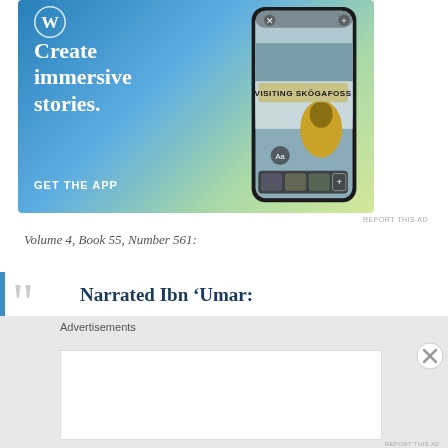[Figure (illustration): WordPress advertisement banner with blue-to-green gradient background. Shows WordPress logo (W in circle), text 'Create immersive stories.' and 'GET THE APP', with a smartphone mockup showing a travel story about Skogafoss waterfall.]
REPORT THIS AD
Volume 4, Book 55, Number 561:
Narrated Ibn ‘Umar:
Advertisements
[Figure (other): Advertisement placeholder box, white rectangle on grey background.]
REPORT THIS AD